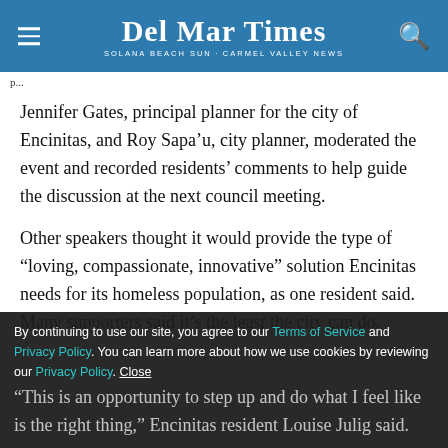Del Mar Times — Solana Beach Sun-Carmel Valley News
Jennifer Gates, principal planner for the city of Encinitas, and Roy Sapa’u, city planner, moderated the event and recorded residents’ comments to help guide the discussion at the next council meeting.
Other speakers thought it would provide the type of “loving, compassionate, innovative” solution Encinitas needs for its homeless population, as one resident said. Many supporters said it’s the least the city can do.
“This is an opportunity to step up and do what I feel like is the right thing,” Encinitas resident Louise Julig said.
By continuing to use our site, you agree to our Terms of Service and Privacy Policy. You can learn more about how we use cookies by reviewing our Privacy Policy. Close